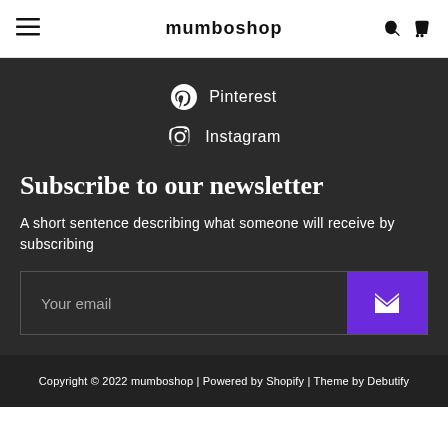mumboshop
Pinterest
Instagram
Subscribe to our newsletter
A short sentence describing what someone will receive by subscribing
Your email
Copyright © 2022 mumboshop | Powered by Shopify | Theme by Debutify